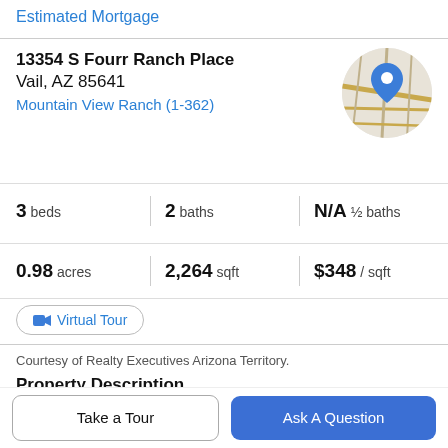Estimated Mortgage
13354 S Fourr Ranch Place
Vail, AZ 85641
Mountain View Ranch (1-362)
[Figure (map): Circular map thumbnail showing street map with a blue location pin marker]
| Stat | Value |
| --- | --- |
| beds | 3 |
| baths | 2 |
| ½ baths | N/A |
| acres | 0.98 |
| sqft | 2,264 |
| price/sqft | $348 |
Virtual Tour
Courtesy of Realty Executives Arizona Territory.
Property Description
Our beautiful and spacious Rosewood 2200 model
Take a Tour
Ask A Question